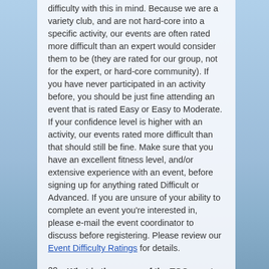difficulty with this in mind. Because we are a variety club, and are not hard-core into a specific activity, our events are often rated more difficult than an expert would consider them to be (they are rated for our group, not for the expert, or hard-core community). If you have never participated in an activity before, you should be just fine attending an event that is rated Easy or Easy to Moderate. If your confidence level is higher with an activity, our events rated more difficult than that should still be fine. Make sure that you have an excellent fitness level, and/or extensive experience with an event, before signing up for anything rated Difficult or Advanced. If you are unsure of your ability to complete an event you're interested in, please e-mail the event coordinator to discuss before registering. Please review our Event Difficulty Ratings for details.
20. What is the scope of the TOC events (ie, for risk/difficulty)?